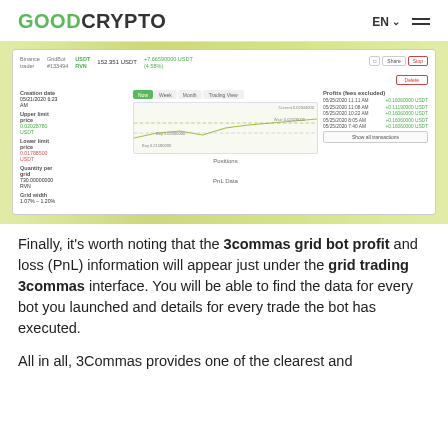GOODCRYPTO  EN ☰
[Figure (screenshot): Screenshot of GoodCrypto grid bot interface showing Binance trader GridBot #133494, USDT/RVN pair, 152.351 USDT balance, +7.66590000 USDT (4.58%) profit. Displays creation date 05/21/2020 6:23 AM, upper limit price 0.02028780 USDT, lower limit price 0.01788500 USDT, quantity per grid 730.00000000 RVN, grid width 1.07%-1.20%. Shows Positions and PnL Data tabs with a price chart. Right panel shows Profits (fees excluded) with multiple entries from 05/25/2020 showing +0.16060000 USDT, +0.11190000 USDT, +0.16060000 USDT, +0.16060000 USDT, +0.16060000 USDT, and Show all transactions button.]
Finally, it's worth noting that the 3commas grid bot profit and loss (PnL) information will appear just under the grid trading 3commas interface. You will be able to find the data for every bot you launched and details for every trade the bot has executed.
All in all, 3Commas provides one of the clearest and